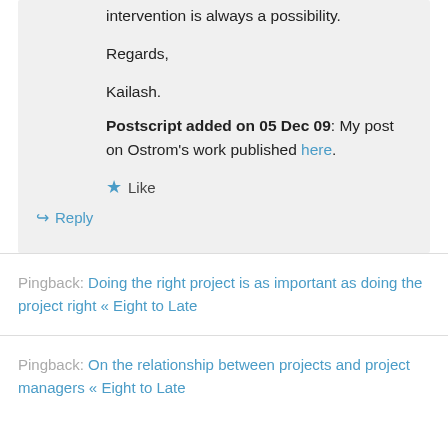intervention is always a possibility.
Regards,
Kailash.
Postscript added on 05 Dec 09: My post on Ostrom's work published here.
★ Like
↪ Reply
Pingback: Doing the right project is as important as doing the project right « Eight to Late
Pingback: On the relationship between projects and project managers « Eight to Late